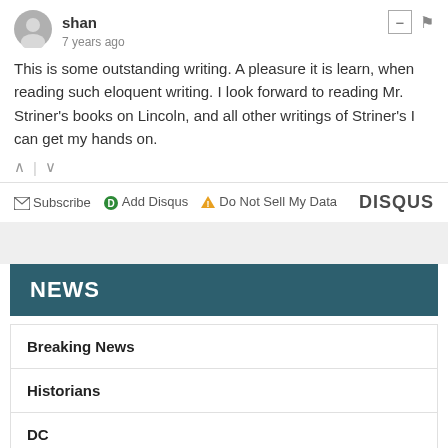shan
7 years ago
This is some outstanding writing. A pleasure it is learn, when reading such eloquent writing. I look forward to reading Mr. Striner's books on Lincoln, and all other writings of Striner's I can get my hands on.
Subscribe  Add Disqus  Do Not Sell My Data  DISQUS
NEWS
Breaking News
Historians
DC
ACLU, Educators and Students File to Block Florida's "Stop WOKE" Law